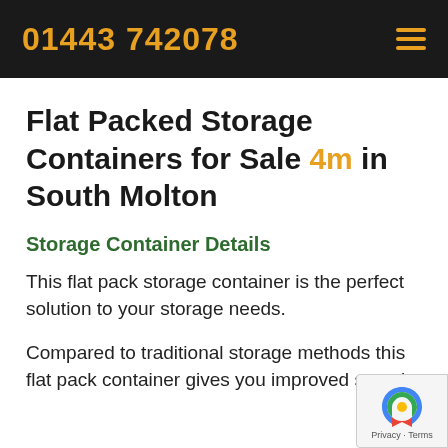01443 742078
Flat Packed Storage Containers for Sale 4m in South Molton
Storage Container Details
This flat pack storage container is the perfect solution to your storage needs.
Compared to traditional storage methods this flat pack container gives you improved security